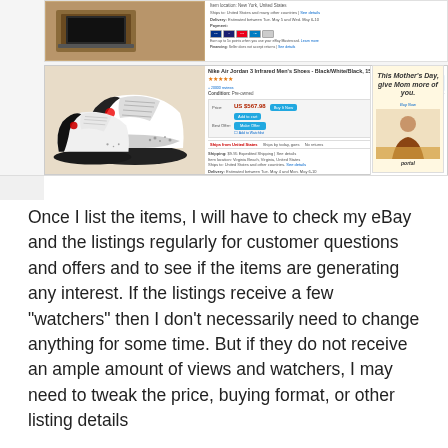[Figure (screenshot): Screenshot of an eBay product listing page showing Nike Air Jordan 3 Infrared Men's Shoes - Black/White/Black, 15 US, with price US $567.98, Buy It Now, Add to cart, and Make Offer buttons, along with shipping, payment options, and a Mother's Day advertisement on the right side. Thumbnail images of the shoes are shown at the bottom of the listing.]
Once I list the items, I will have to check my eBay and the listings regularly for customer questions and offers and to see if the items are generating any interest. If the listings receive a few "watchers" then I don't necessarily need to change anything for some time. But if they do not receive an ample amount of views and watchers, I may need to tweak the price, buying format, or other listing details